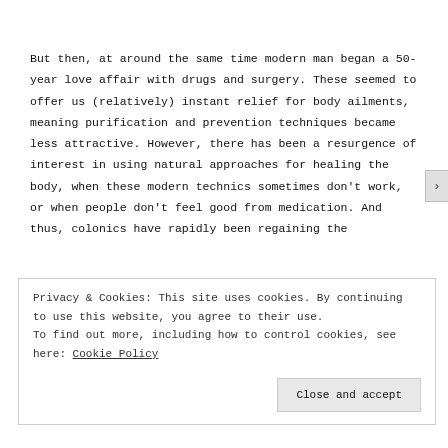But then, at around the same time modern man began a 50-year love affair with drugs and surgery. These seemed to offer us (relatively) instant relief for body ailments, meaning purification and prevention techniques became less attractive. However, there has been a resurgence of interest in using natural approaches for healing the body, when these modern technics sometimes don't work, or when people don't feel good from medication. And thus, colonics have rapidly been regaining the
Privacy & Cookies: This site uses cookies. By continuing to use this website, you agree to their use. To find out more, including how to control cookies, see here: Cookie Policy
Close and accept